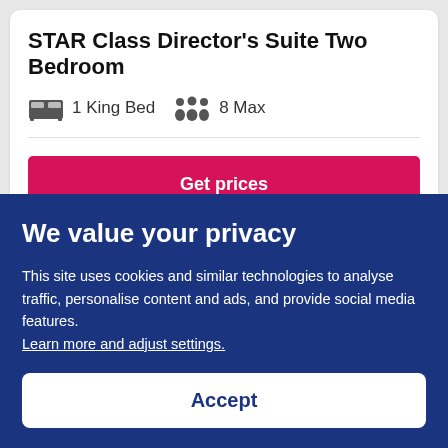STAR Class Director's Suite Two Bedroom
1 King Bed   8 Max
Get prices
We value your privacy
This site uses cookies and similar technologies to analyse traffic, personalise content and ads, and provide social media features. Learn more and adjust settings.
Accept